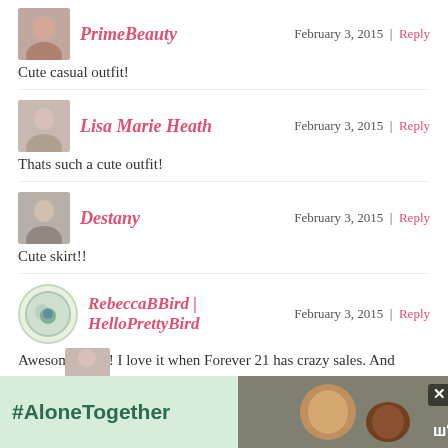PrimeBeauty
Cute casual outfit!
Lisa Marie Heath
Thats such a cute outfit!
Destany
Cute skirt!!
RebeccaBBird | HelloPrettyBird
Awesome buys! I love it when Forever 21 has crazy sales. And OMG yes, taking your own pictures is difficult without assistance. I would probably do occasional OOTD photos if I didn't have to awkwardly take them myself, haha!
[Figure (screenshot): #AloneTogether advertisement banner at bottom of page]